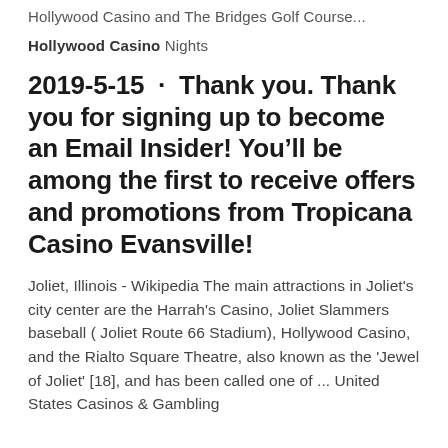Hollywood Casino and The Bridges Golf Course...
Hollywood Casino Nights
2019-5-15  ·  Thank you. Thank you for signing up to become an Email Insider! You'll be among the first to receive offers and promotions from Tropicana Casino Evansville!
Joliet, Illinois - Wikipedia The main attractions in Joliet's city center are the Harrah's Casino, Joliet Slammers baseball ( Joliet Route 66 Stadium), Hollywood Casino, and the Rialto Square Theatre, also known as the 'Jewel of Joliet' [18], and has been called one of ... United States Casinos & Gambling